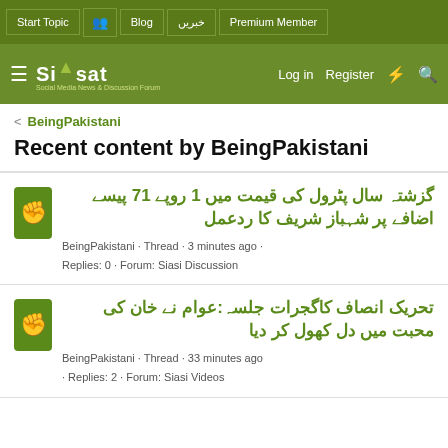Start Topic | Blog | خبریں | Premium Member
Siasat — Log in | Register
< BeingPakistani
Recent content by BeingPakistani
گزشتہ سال پٹرول کی قیمت میں 1 روپے 71 پیسے اضافے پر شہباز شریف کا ردعمل
BeingPakistani · Thread · 3 minutes ago · Replies: 0 · Forum: Siasi Discussion
تحریک انصاف کاگجرات جلسہ: عوام نے خان کی محبت میں دل کھول کر دیا
BeingPakistani · Thread · 33 minutes ago · Replies: 2 · Forum: Siasi Videos